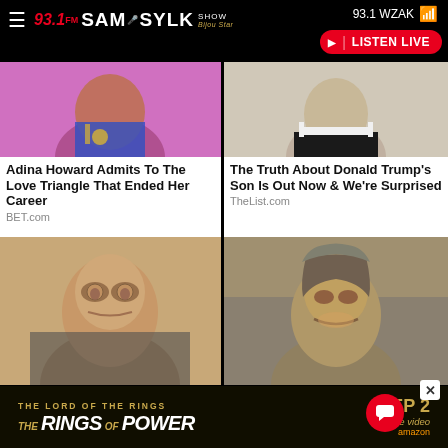93.1 FM Sam Sylk Show | 93.1 WZAK | LISTEN LIVE
[Figure (photo): Close-up photo of a woman wearing blue outfit with gold jewelry]
Adina Howard Admits To The Love Triangle That Ended Her Career
BET.com
[Figure (photo): Close-up photo of a young man in dark suit with white collar]
The Truth About Donald Trump's Son Is Out Now & We're Surprised
TheList.com
[Figure (photo): Portrait of a man with sunglasses]
[Figure (photo): Portrait of an older man with gray hair smiling]
[Figure (advertisement): The Lord of the Rings: The Rings of Power - SEP 2 - prime video advertisement]